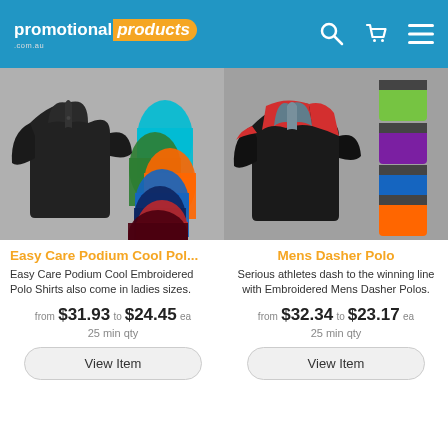[Figure (logo): Promotional Products .com.au logo with search, cart, and menu icons on blue header]
[Figure (photo): Easy Care Podium Cool Polo shirts shown in black with multiple color variants fanned out behind]
[Figure (photo): Mens Dasher Polo shirt in black/red/grey with multiple color variants shown]
Easy Care Podium Cool Pol...
Easy Care Podium Cool Embroidered Polo Shirts also come in ladies sizes.
from $31.93 to $24.45 ea
25 min qty
View Item
Mens Dasher Polo
Serious athletes dash to the winning line with Embroidered Mens Dasher Polos.
from $32.34 to $23.17 ea
25 min qty
View Item